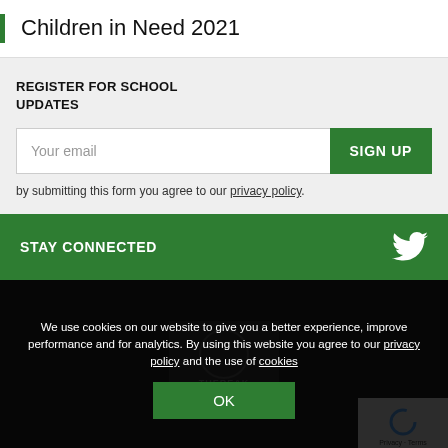Children in Need 2021
REGISTER FOR SCHOOL UPDATES
Your email
SIGN UP
by submitting this form you agree to our privacy policy.
STAY CONNECTED
We use cookies on our website to give you a better experience, improve performance and for analytics. By using this website you agree to our privacy policy and the use of cookies
OK
The White H… deration